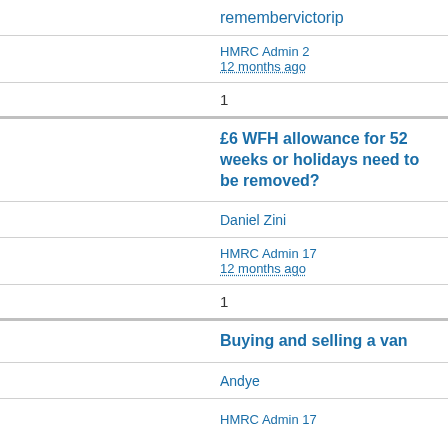remembervictorip
HMRC Admin 2
12 months ago
1
£6 WFH allowance for 52 weeks or holidays need to be removed?
Daniel Zini
HMRC Admin 17
12 months ago
1
Buying and selling a van
Andye
HMRC Admin 17